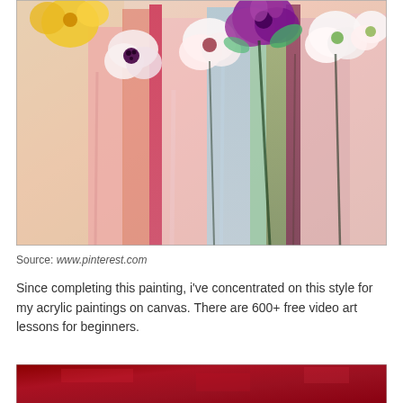[Figure (photo): Abstract acrylic painting of flowers on canvas with dripping paint strokes in pink, coral, blue, green, purple and white tones. Flowers visible at top including white anemones, purple blooms, yellow flowers.]
Source: www.pinterest.com
Since completing this painting, i've concentrated on this style for my acrylic paintings on canvas. There are 600+ free video art lessons for beginners.
[Figure (photo): Bottom portion of another painting showing deep crimson/red textured surface.]